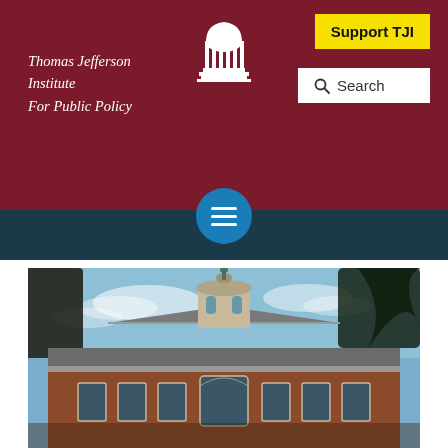Thomas Jefferson Institute For Public Policy
[Figure (logo): White rotunda/capitol building icon on dark red background]
Support TJI
Search
[Figure (photo): Photograph of a brick colonial-style building with a white cupola/steeple, arched windows, blue sky and trees with Spanish moss in background]